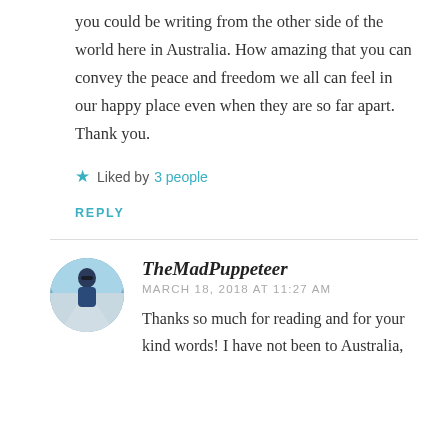you could be writing from the other side of the world here in Australia. How amazing that you can convey the peace and freedom we all can feel in our happy place even when they are so far apart. Thank you.
Liked by 3 people
REPLY
TheMadPuppeteer
MARCH 18, 2018 AT 11:27 AM
Thanks so much for reading and for your kind words! I have not been to Australia, but I would love to visit. Thank you.